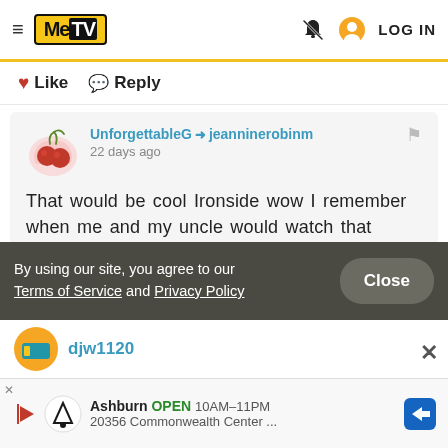MeTV — LOG IN
❤ Like  💬 Reply
UnforgettableG → jeanninerobinm
22 days ago

That would be cool Ironside wow I remember when me and my uncle would watch that

❤ Like  💬 Reply
By using our site, you agree to our Terms of Service and Privacy Policy   Close
djw1120
Ashburn  OPEN 10AM–11PM  20356 Commonwealth Center ...